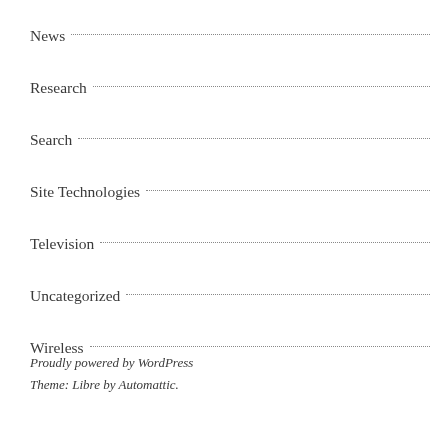News
Research
Search
Site Technologies
Television
Uncategorized
Wireless
Proudly powered by WordPress
Theme: Libre by Automattic.